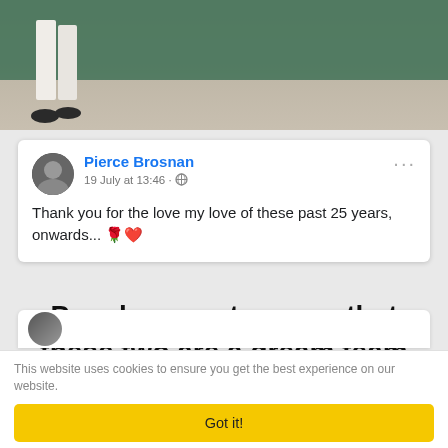[Figure (photo): Top portion of a photo showing green wall background with a person's legs in white trousers and dark shoes at the bottom left]
Pierce Brosnan
19 July at 13:46 · 🌐
Thank you for the love my love of these past 25 years, onwards... 🌹❤️
People seem to agree that these two are a dream team
This website uses cookies to ensure you get the best experience on our website.
Got it!